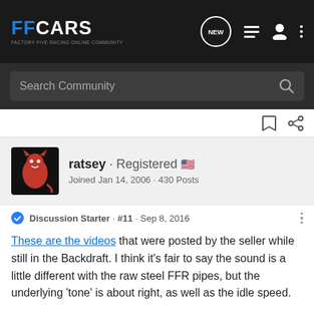FFCARS · Factory Five Racing Online Community
Search Community
ratsey · Registered · Joined Jan 14, 2006 · 430 Posts
Discussion Starter · #11 · Sep 8, 2016
These are the videos that were posted by the seller while still in the Backdraft. I think it's fair to say the sound is a little different with the raw steel FFR pipes, but the underlying 'tone' is about right, as well as the idle speed.
Compared to Dave's 347, it's no contest which sounds better, subjective or not!